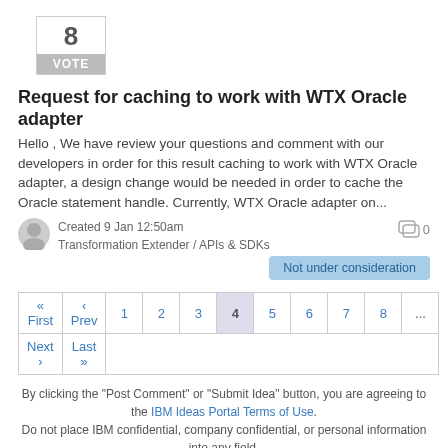[Figure (other): Vote box showing number 8 with a VOTE button]
Request for caching to work with WTX Oracle adapter
Hello , We have review your questions and comment with our developers in order for this result caching to work with WTX Oracle adapter, a design change would be needed in order to cache the Oracle statement handle. Currently, WTX Oracle adapter on...
Created 9 Jan 12:50am
Transformation Extender / APIs & SDKs
Not under consideration
| « First | ‹ Prev | 1 | 2 | 3 | 4 | 5 | 6 | 7 | 8 | ... |
| Next › | Last » |
By clicking the "Post Comment" or "Submit Idea" button, you are agreeing to the IBM Ideas Portal Terms of Use. Do not place IBM confidential, company confidential, or personal information into any field.